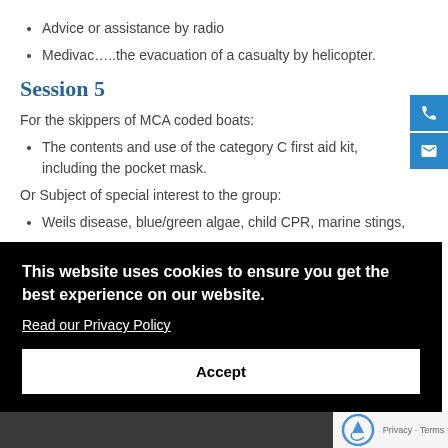Advice or assistance by radio
Medivac…..the evacuation of a casualty by helicopter.
Session 5
For the skippers of MCA coded boats:
The contents and use of the category C first aid kit, including the pocket mask.
Or Subject of special interest to the group:
Weils disease, blue/green algae, child CPR, marine stings,
This website uses cookies to ensure you get the best experience on our website.
Read our Privacy Policy
Accept